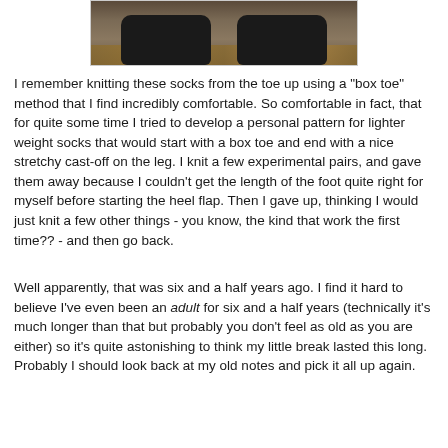[Figure (photo): Close-up photo of two black boots/shoes on a ground covered with fallen leaves and gravel, cropped at the top of the page.]
I remember knitting these socks from the toe up using a "box toe" method that I find incredibly comfortable. So comfortable in fact, that for quite some time I tried to develop a personal pattern for lighter weight socks that would start with a box toe and end with a nice stretchy cast-off on the leg. I knit a few experimental pairs, and gave them away because I couldn't get the length of the foot quite right for myself before starting the heel flap. Then I gave up, thinking I would just knit a few other things - you know, the kind that work the first time?? - and then go back.
Well apparently, that was six and a half years ago. I find it hard to believe I've even been an adult for six and a half years (technically it's much longer than that but probably you don't feel as old as you are either) so it's quite astonishing to think my little break lasted this long.  Probably I should look back at my old notes and pick it all up again.